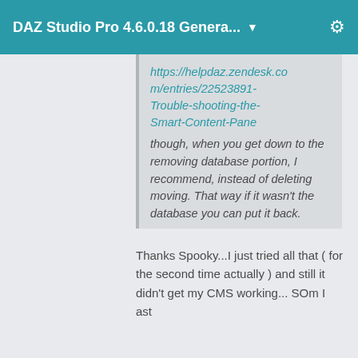DAZ Studio Pro 4.6.0.18 Genera... ▼
https://helpdaz.zendesk.com/entries/22523891-Trouble-shooting-the-Smart-Content-Pane though, when you get down to the removing database portion, I recommend, instead of deleting moving. That way if it wasn't the database you can put it back.
Thanks Spooky...I just tried all that ( for the second time actually ) and still it didn't get my CMS working... SOm I ast